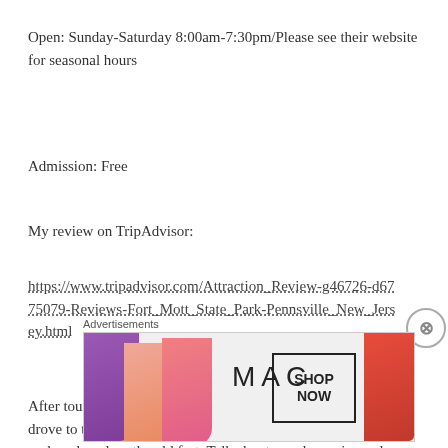Open: Sunday-Saturday 8:00am-7:30pm/Please see their website for seasonal hours
Admission: Free
My review on TripAdvisor:
https://www.tripadvisor.com/Attraction_Review-g46726-d6775079-Reviews-Fort_Mott_State_Park-Pennsville_New_Jersey.html
After touring Finns Point Lighthouse in the front of the park, I drove to the back of Fort Mott State Park to tour the rest of the park and explore the old fort. Talk about a real surprise and a a real treat. Talk about views of the
Advertisements
[Figure (other): MAC Cosmetics advertisement showing lipsticks in purple, peach, pink, and red colors with MAC logo and SHOP NOW button]